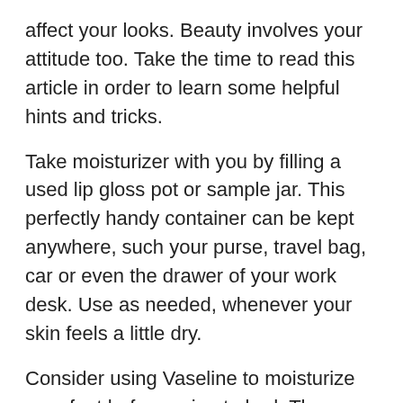affect your looks. Beauty involves your attitude too. Take the time to read this article in order to learn some helpful hints and tricks.
Take moisturizer with you by filling a used lip gloss pot or sample jar. This perfectly handy container can be kept anywhere, such your purse, travel bag, car or even the drawer of your work desk. Use as needed, whenever your skin feels a little dry.
Consider using Vaseline to moisturize your feet before going to bed. The Vaseline will soften and hydrate the skin on your feet to give you that new-pedicure feeling. Start rubbing your feet every night before going to bed. Apply your Vaseline liberally and then slip on your socks as they will keep it on your feet and off your sheets!
If your nail polish is becoming thick and sticky, consider